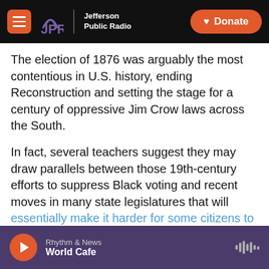[Figure (logo): JPR Jefferson Public Radio navigation bar with hamburger menu, JPR logo, and orange Donate button on black background]
The election of 1876 was arguably the most contentious in U.S. history, ending Reconstruction and setting the stage for a century of oppressive Jim Crow laws across the South.
In fact, several teachers suggest they may draw parallels between those 19th-century efforts to suppress Black voting and recent moves in many state legislatures that will essentially make it harder for some citizens to vote — new rules that will, in many states, hit communities of color the hardest.
Copyright 2022 NPR.
[Figure (screenshot): Audio player bar in purple showing play button, Rhythm & News / World Cafe, and waveform icon]